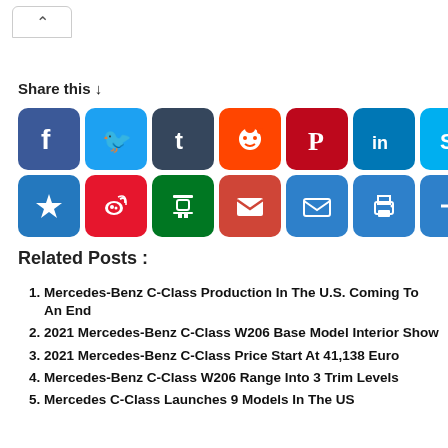[Figure (screenshot): Tab/chevron up button in top-left corner]
Share this ↓
[Figure (infographic): Social media sharing buttons: Facebook, Twitter, Tumblr, Reddit, Pinterest, LinkedIn, Skype, WhatsApp, WeChat, LINE, Weibo Star, Weibo, Douban, Gmail, Email, Print, Share+]
Related Posts :
Mercedes-Benz C-Class Production In The U.S. Coming To An End
2021 Mercedes-Benz C-Class W206 Base Model Interior Show
2021 Mercedes-Benz C-Class Price Start At 41,138 Euro
Mercedes-Benz C-Class W206 Range Into 3 Trim Levels
Mercedes C-Class Launches 9 Models In The US